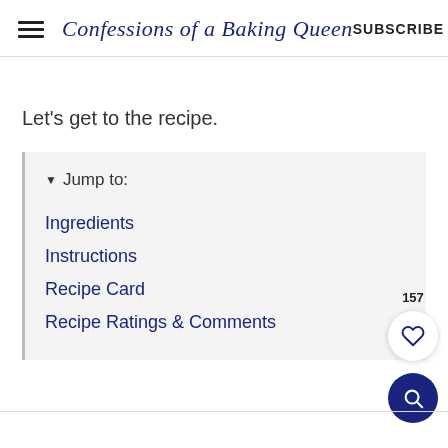Confessions of a Baking Queen  SUBSCRIBE
Let's get to the recipe.
▼ Jump to:
Ingredients
Instructions
Recipe Card
Recipe Ratings & Comments